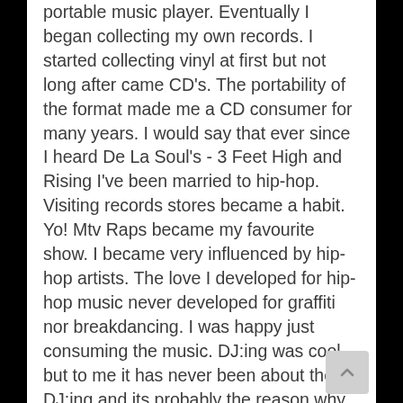portable music player. Eventually I began collecting my own records. I started collecting vinyl at first but not long after came CD's. The portability of the format made me a CD consumer for many years. I would say that ever since I heard De La Soul's - 3 Feet High and Rising I've been married to hip-hop. Visiting records stores became a habit. Yo! Mtv Raps became my favourite show. I became very influenced by hip-hop artists. The love I developed for hip-hop music never developed for graffiti nor breakdancing. I was happy just consuming the music. DJ:ing was cool but to me it has never been about the DJ:ing and its probably the reason why I've never put down too much time practising techniques or routines. To me it was all about letting other people know about artists or records I had discovered and that I felt the whole world